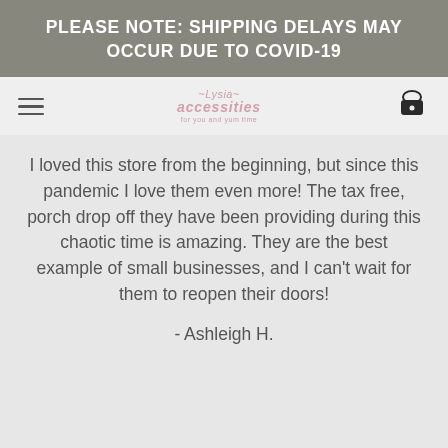PLEASE NOTE: SHIPPING DELAYS MAY OCCUR DUE TO COVID-19
[Figure (screenshot): Navigation bar with hamburger menu icon on left, store logo in center, basket icon on right]
I loved this store from the beginning, but since this pandemic I love them even more! The tax free, porch drop off they have been providing during this chaotic time is amazing. They are the best example of small businesses, and I can't wait for them to reopen their doors!
- Ashleigh H.
[Figure (illustration): Pink circular floating action button with shopping bag and heart icon]